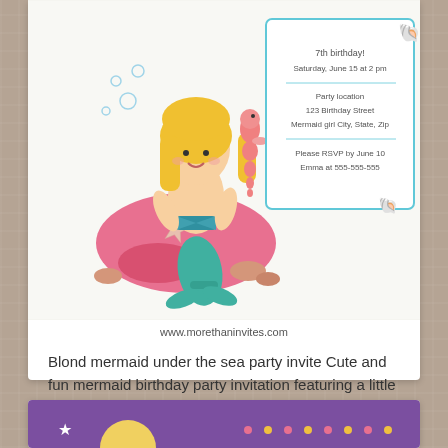[Figure (illustration): Mermaid birthday party invitation card featuring a cartoon blond mermaid sitting on a pink rock with a starfish and seahorse, with party text details in a bordered box]
www.morethaninvites.com
Blond mermaid under the sea party invite Cute and fun mermaid birthday party invitation featuring a little blond mermaid cartoon girl sitting on a pink rock with a starfish and seahorse. Customizable invite text surrounded by … → April 15, 2014
[Figure (illustration): Bottom portion of another invitation card with purple background, partially visible]